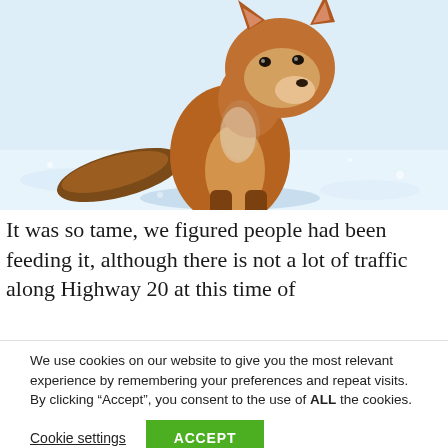[Figure (photo): A red fox sitting on a snowy surface, facing the camera. The fox has orange-brown fur with darker markings. The background is bright white snow with faint texture.]
It was so tame, we figured people had been feeding it, although there is not a lot of traffic along Highway 20 at this time of
We use cookies on our website to give you the most relevant experience by remembering your preferences and repeat visits. By clicking “Accept”, you consent to the use of ALL the cookies.
Cookie settings
ACCEPT